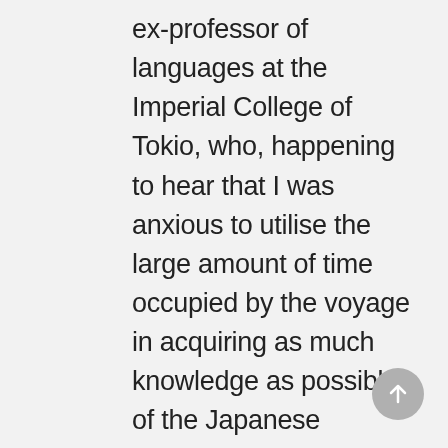ex-professor of languages at the Imperial College of Tokio, who, happening to hear that I was anxious to utilise the large amount of time occupied by the voyage in acquiring as much knowledge as possible of the Japanese language, at once came forward with an offer to gratuitously teach me, in order that, as he remarked, I might be equipped with a working knowledge of the language upon my arrival, and so be in a position to immediately render my services valuable. The old gentleman, it appeared, had been remarkably successful in his day as a teacher of languages, working upon a system which he had himself invented; and, luckily for me, his system was so excellent that, working with me for five hours daily, he